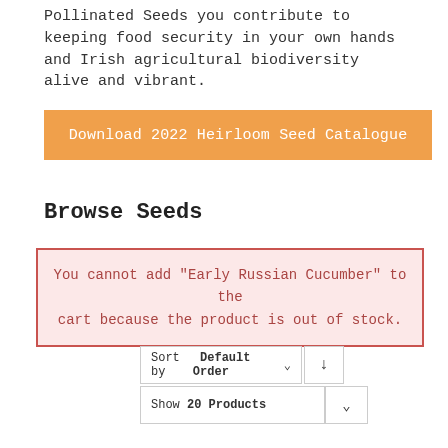Pollinated Seeds you contribute to keeping food security in your own hands and Irish agricultural biodiversity alive and vibrant.
[Figure (other): Orange button: Download 2022 Heirloom Seed Catalogue]
Browse Seeds
You cannot add "Early Russian Cucumber" to the cart because the product is out of stock.
[Figure (other): Sort by Default Order dropdown with descending arrow button]
[Figure (other): Show 20 Products dropdown]